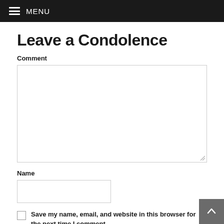MENU
Leave a Condolence
Comment
[Figure (other): Large empty textarea input field for comment]
Name
[Figure (other): Short text input field for name]
Save my name, email, and website in this browser for the next time I comment.